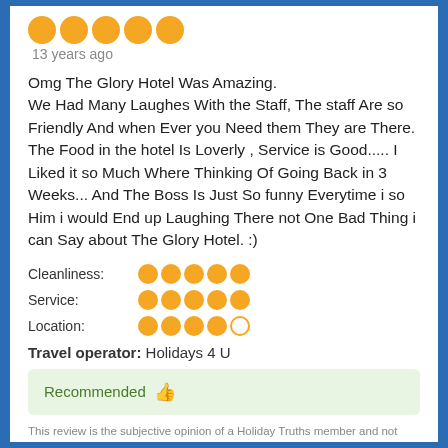[Figure (other): 5 gold circle star rating icons (large)]
13 years ago
Omg The Glory Hotel Was Amazing.
We Had Many Laughes With the Staff, The staff Are so Friendly And when Ever you Need them They are There.
The Food in the hotel Is Loverly , Service is Good..... I Liked it so Much Where Thinking Of Going Back in 3 Weeks... And The Boss Is Just So funny Everytime i so Him i would End up Laughing There not One Bad Thing i can Say about The Glory Hotel. :)
Cleanliness: 5/5 stars
Service: 5/5 stars
Location: 4/5 stars
Travel operator: Holidays 4 U
Recommended 👍
This review is the subjective opinion of a Holiday Truths member and not